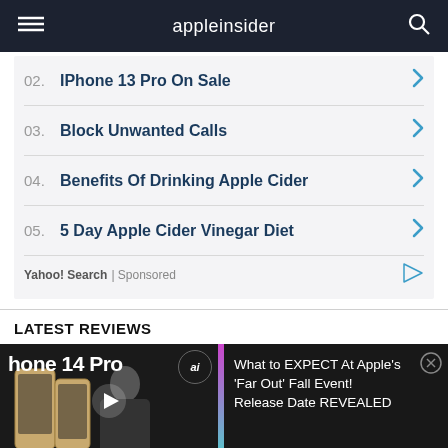appleinsider
02. IPhone 13 Pro On Sale
03. Block Unwanted Calls
04. Benefits Of Drinking Apple Cider
05. 5 Day Apple Cider Vinegar Diet
Yahoo! Search | Sponsored
LATEST REVIEWS
[Figure (screenshot): Video thumbnail showing iPhone 14 Pro and Apple event presenter with overlay text: What to EXPECT At Apple's 'Far Out' Fall Event! Release Date REVEALED]